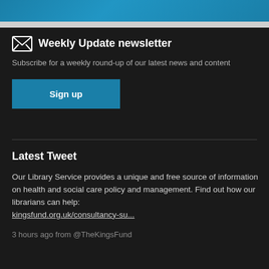[Figure (photo): Teal/blue gradient image strip at the top of the page]
Weekly Update newsletter
Subscribe for a weekly round-up of our latest news and content
Sign up
Latest Tweet
Our Library Service provides a unique and free source of information on health and social care policy and management. Find out how our librarians can help: kingsfund.org.uk/consultancy-su...
3 hours ago from @TheKingsFund